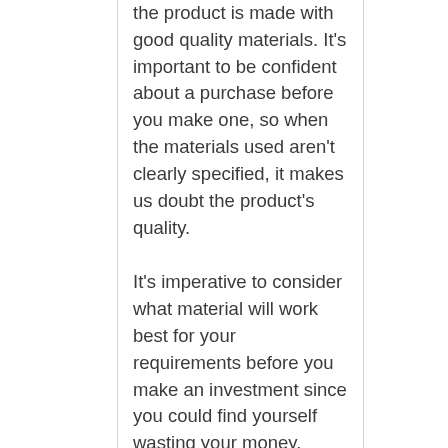the product is made with good quality materials. It's important to be confident about a purchase before you make one, so when the materials used aren't clearly specified, it makes us doubt the product's quality.
It's imperative to consider what material will work best for your requirements before you make an investment since you could find yourself wasting your money.
Types
As you know by now, there are various types of Cassette Player For